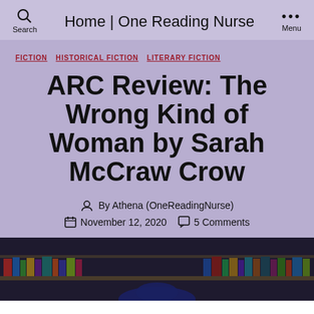Home | One Reading Nurse
FICTION  HISTORICAL FICTION  LITERARY FICTION
ARC Review: The Wrong Kind of Woman by Sarah McCraw Crow
By Athena (OneReadingNurse)
November 12, 2020  5 Comments
[Figure (photo): Bottom portion showing a bookshelf with books and a person visible in front of it]